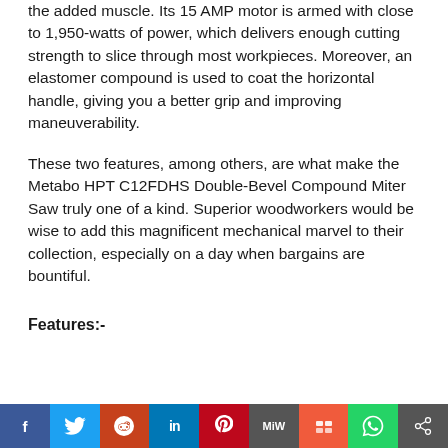the added muscle. Its 15 AMP motor is armed with close to 1,950-watts of power, which delivers enough cutting strength to slice through most workpieces. Moreover, an elastomer compound is used to coat the horizontal handle, giving you a better grip and improving maneuverability.
These two features, among others, are what make the Metabo HPT C12FDHS Double-Bevel Compound Miter Saw truly one of a kind. Superior woodworkers would be wise to add this magnificent mechanical marvel to their collection, especially on a day when bargains are bountiful.
Features:-